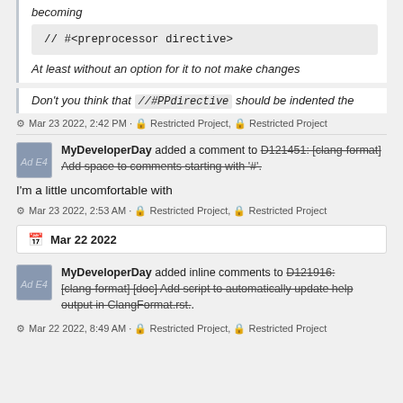becoming
// #<preprocessor directive>
At least without an option for it to not make changes
Don't you think that //#PPdirective should be indented the
Mar 23 2022, 2:42 PM · Restricted Project, Restricted Project
MyDeveloperDay added a comment to D121451: [clang-format] Add space to comments starting with '#'.
I'm a little uncomfortable with
Mar 23 2022, 2:53 AM · Restricted Project, Restricted Project
Mar 22 2022
MyDeveloperDay added inline comments to D121916: [clang-format] [doc] Add script to automatically update help output in ClangFormat.rst..
Mar 22 2022, 8:49 AM · Restricted Project, Restricted Project